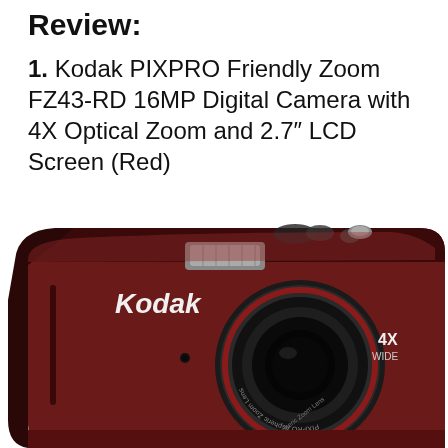Review:
1. Kodak PIXPRO Friendly Zoom FZ43-RD 16MP Digital Camera with 4X Optical Zoom and 2.7″ LCD Screen (Red)
[Figure (photo): Photo of a red Kodak PIXPRO FZ43 digital camera shown at an angle, displaying the front with Kodak branding, PIXPRO Aspheric Zoom Lens, flash unit, and 4X WIDE label. The camera body is dark red/maroon metallic with a black lens barrel.]